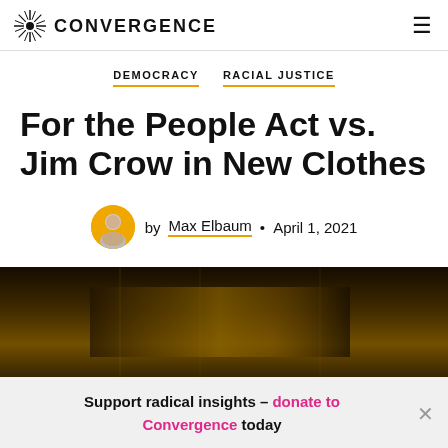CONVERGENCE
DEMOCRACY   RACIAL JUSTICE
For the People Act vs. Jim Crow in New Clothes
by Max Elbaum • April 1, 2021
[Figure (photo): Dark golden-toned hero image, appears to show a building or street scene under warm light]
Support radical insights – donate to Convergence today